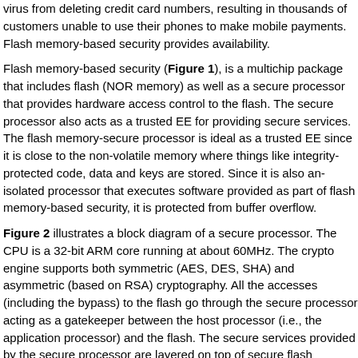virus from deleting credit card numbers, resulting in thousands of customers unable to use their phones to make mobile payments. Flash memory-based security provides confidentiality and availability.
Flash memory-based security (Figure 1), is a multichip package that includes flash (NOR memory) as well as a secure processor that provides hardware access control to the flash. The secure processor also acts as a trusted EE for providing secure services. The flash memory-secure processor is ideal as a trusted EE since it is close to the non-volatile memory where things like integrity-protected code, data and keys are stored. Since it is also an isolated processor that executes software provided as part of flash memory-based security, it is protected from buffer overflow.
Figure 2 illustrates a block diagram of a secure processor. The CPU is a 32-bit ARM core running at about 60MHz. The crypto engine supports both symmetric (AES, DES, SHA) and asymmetric (based on RSA) cryptography. All the accesses (including the bypass) to the flash go through the secure processor acting as a gatekeeper between the host processor (i.e., the application processor) and the flash. The secure services provided by the secure processor are layered on top of secure flash memory services.
Case in point: secure processor
The secure processor provides a trusted EE for applications running on the host. The software running on the secure processor is tightly controlled by the handset OEM.